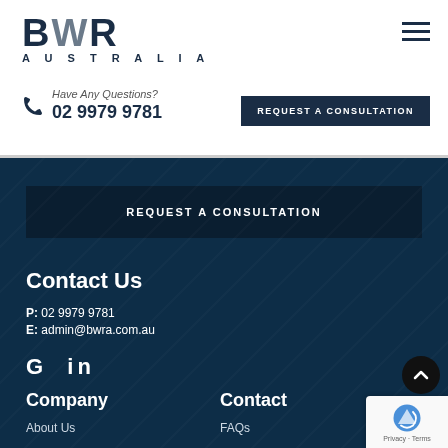[Figure (logo): BWR Australia logo with large bold blue-grey letters and 'AUSTRALIA' text below]
Have Any Questions?
02 9979 9781
REQUEST A CONSULTATION
REQUEST A CONSULTATION
Contact Us
P: 02 9979 9781
E: admin@bwra.com.au
G  in
Company
Contact
About Us
FAQs
Past Projects
Contact Us